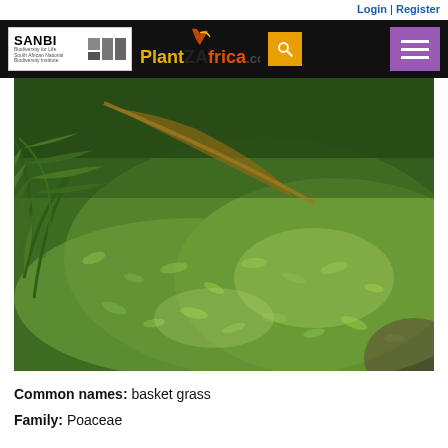Login | Register
[Figure (logo): SANBI and PlantZAfrica.com navigation header with search and menu buttons]
[Figure (photo): Dense ground-cover green grass (basket grass) growing in a shaded area with palm fronds visible on the left side]
Common names: basket grass
Family: Poaceae